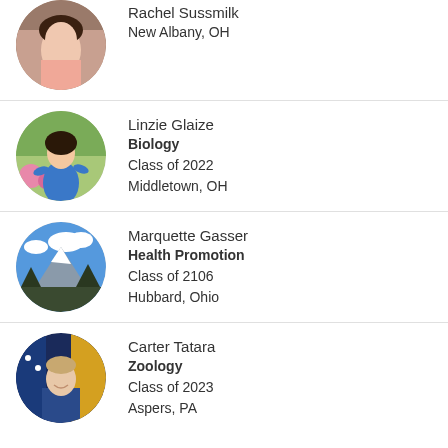[Figure (photo): Circular profile photo of Rachel Sussmilk, partial view]
Rachel Sussmilk
New Albany, OH
[Figure (photo): Circular profile photo of Linzie Glaize outdoors]
Linzie Glaize
Biology
Class of 2022
Middletown, OH
[Figure (photo): Circular profile photo of Marquette Gasser with mountain scenery]
Marquette Gasser
Health Promotion
Class of 2106
Hubbard, Ohio
[Figure (photo): Circular profile photo of Carter Tatara in military uniform with flags]
Carter Tatara
Zoology
Class of 2023
Aspers, PA